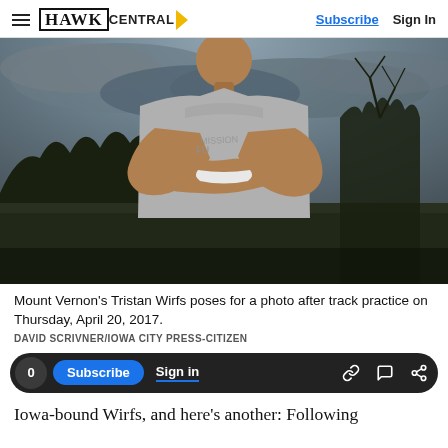HAWK CENTRAL — Subscribe | Sign In
[Figure (photo): Athletic young man (Tristan Wirfs) in a gray t-shirt with arms crossed, posed outdoors against a dramatic cloudy sky with trees in the background after track practice, April 20, 2017.]
Mount Vernon's Tristan Wirfs poses for a photo after track practice on Thursday, April 20, 2017.
DAVID SCRIVNER/IOWA CITY PRESS-CITIZEN
Iowa-bound Wirfs, and here's another: Following